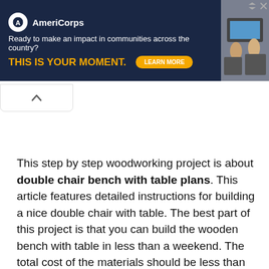[Figure (other): AmeriCorps advertisement banner with dark navy background. Logo with circle 'A' icon, tagline 'Ready to make an impact in communities across the country?', headline 'THIS IS YOUR MOMENT.' in gold/yellow bold text, and a 'LEARN MORE' button. Photo of people at computers on right side.]
This step by step woodworking project is about double chair bench with table plans. This article features detailed instructions for building a nice double chair with table. The best part of this project is that you can build the wooden bench with table in less than a weekend. The total cost of the materials should be less than 30 dollars. We have designed the plans to keep the expenditures under control and to involve the least amount of work possible. It